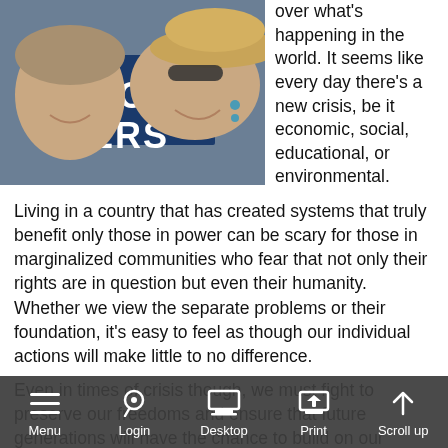[Figure (photo): Two women smiling and laughing in front of a blue sign that reads 'LEAGUE OF VOTERS'. One wears a large sun hat and sunglasses.]
over what's happening in the world. It seems like every day there's a new crisis, be it economic, social, educational, or environmental.
Living in a country that has created systems that truly benefit only those in power can be scary for those in marginalized communities who fear that not only their rights are in question but even their humanity. Whether we view the separate problems or their foundation, it's easy to feel as though our individual actions will make little to no difference.
Even in times of crisis though, we must fight to preserve our freedoms and ensure that future generations will have the chance to build on our shoulders. As League members, we know that democracy doesn't end at the ballot box. We provide the tools and trainings necessary to learn how to study issues, observe and testify at public meetings, and register voters. We help each other grow and make a